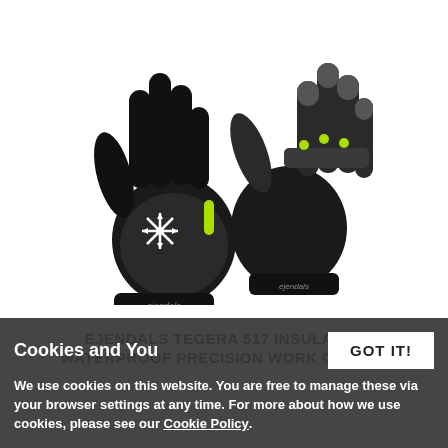[Figure (photo): Black and yellow-green Ejendals Tegera 517 insulated waterproof precision work gloves, shown as a pair from the back. Gloves feature a snowflake icon on the palm side and a wrist strap logo.]
EJENDALS TEGERA 517 INSULATED WATERPROOF PRECISION WORK GLOVES
Cookies and You
We use cookies on this website. You are free to manage these via your browser settings at any time. For more about how we use cookies, please see our Cookie Policy.
In stock now